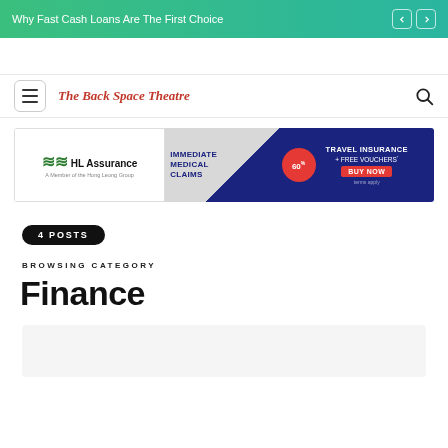Why Fast Cash Loans Are The First Choice
The Back Space Theatre
[Figure (infographic): HL Assurance advertisement banner showing Immediate Medical Claims, 60% off, Travel Insurance + Free Vouchers, Buy Now button]
4 POSTS
BROWSING CATEGORY
Finance